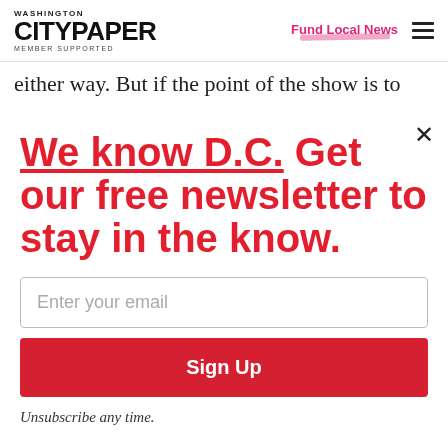WASHINGTON CITYPAPER MEMBER SUPPORTED | Fund Local News
either way. But if the point of the show is to
We know D.C. Get our free newsletter to stay in the know.
Enter your email
Sign Up
Unsubscribe any time.